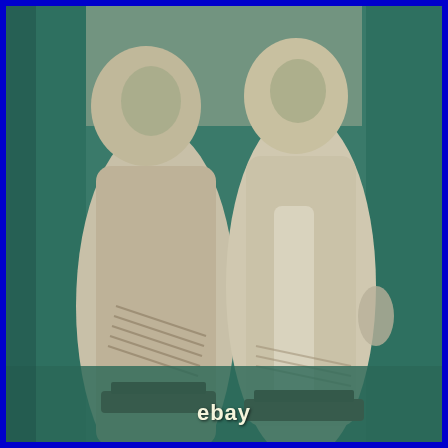[Figure (photo): Two light-colored stone or jade carved figurines of Chinese immortal sages, each on a dark wooden base. The figurines appear to be made of soapstone or similar material with green and cream tones. They are seated/standing on carved bases and placed on a teal/green surface. The image has a blue border around it.]
ebay